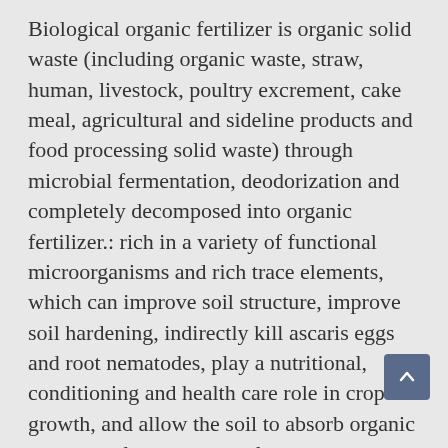Biological organic fertilizer is organic solid waste (including organic waste, straw, human, livestock, poultry excrement, cake meal, agricultural and sideline products and food processing solid waste) through microbial fermentation, deodorization and completely decomposed into organic fertilizer.: rich in a variety of functional microorganisms and rich trace elements, which can improve soil structure, improve soil hardening, indirectly kill ascaris eggs and root nematodes, play a nutritional, conditioning and health care role in crop growth, and allow the soil to absorb organic matter to play a greater role.
This report contains market size and forecasts of Biological Organic Fertilizers in global, including the following market information: